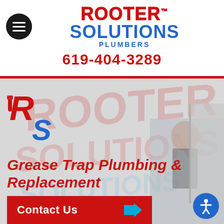[Figure (logo): Rooter Solutions Plumbers logo with red ROOTER text and blue SOLUTIONS text]
619-404-3289
[Figure (photo): Hero background image showing a plumber working near a van with Rooter Solutions branding]
[Figure (logo): RS initials logo in red and blue]
Grease Trap Plumbing & Replacement
Contact Us